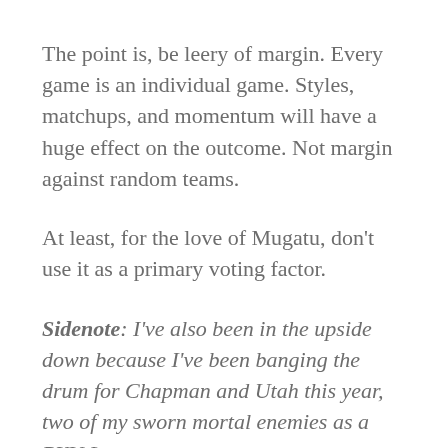The point is, be leery of margin. Every game is an individual game. Styles, matchups, and momentum will have a huge effect on the outcome. Not margin against random teams.
At least, for the love of Mugatu, don't use it as a primary voting factor.
Sidenote: I've also been in the upside down because I've been banging the drum for Chapman and Utah this year, two of my sworn mortal enemies as a BYU Lacrosse